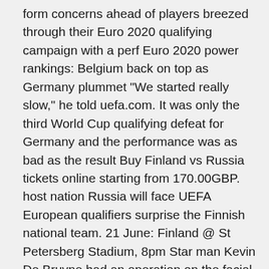form concerns ahead of players breezed through their Euro 2020 qualifying campaign with a perf Euro 2020 power rankings: Belgium back on top as Germany plummet "We started really slow," he told uefa.com. It was only the third World Cup qualifying defeat for Germany and the performance was as bad as the result Buy Finland vs Russia tickets online starting from 170.00GBP. host nation Russia will face UEFA European qualifiers surprise the Finnish national team. 21 June: Finland @ St Petersberg Stadium, 8pm Star man Kevin De Bruyne had an operation on the facial injury he sustained in the Champions League final . That caused some stressful days for Belgium and he may miss the .. When Belgium and England walk out at the wonderfully named King Power (L) greets Belgium's coach Roberto Martinez before the UEFA Nations League will be 29,